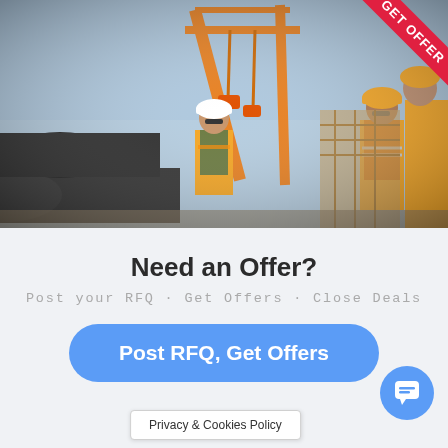[Figure (photo): Construction workers in orange safety vests and helmets handling large steel pipes being lifted by cranes at an industrial site. A red corner ribbon reads 'GET OFFER'.]
Need an Offer?
Post your RFQ · Get Offers · Close Deals
Post RFQ, Get Offers
Privacy & Cookies Policy